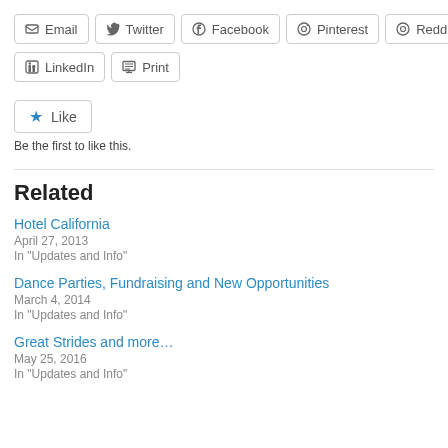Email
Twitter
Facebook
Pinterest
Reddit
LinkedIn
Print
Like
Be the first to like this.
Related
Hotel California
April 27, 2013
In "Updates and Info"
Dance Parties, Fundraising and New Opportunities
March 4, 2014
In "Updates and Info"
Great Strides and more…
May 25, 2016
In "Updates and Info"